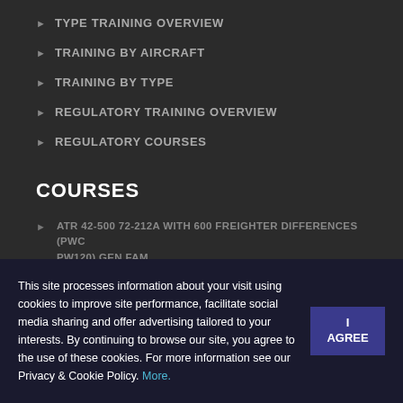TYPE TRAINING OVERVIEW
TRAINING BY AIRCRAFT
TRAINING BY TYPE
REGULATORY TRAINING OVERVIEW
REGULATORY COURSES
COURSES
ATR 42-500 72-212A WITH 600 FREIGHTER DIFFERENCES (PWC PW120) GEN FAM
This site processes information about your visit using cookies to improve site performance, facilitate social media sharing and offer advertising tailored to your interests. By continuing to browse our site, you agree to the use of these cookies. For more information see our Privacy & Cookie Policy. More.